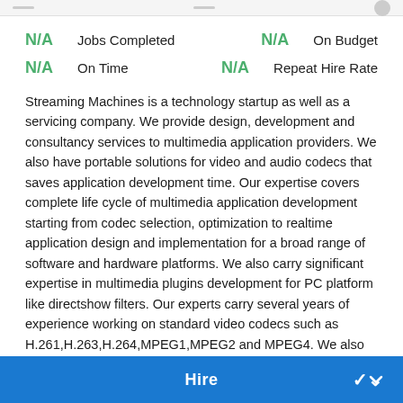N/A Jobs Completed   N/A On Budget
N/A On Time   N/A Repeat Hire Rate
Streaming Machines is a technology startup as well as a servicing company. We provide design, development and consultancy services to multimedia application providers. We also have portable solutions for video and audio codecs that saves application development time. Our expertise covers complete life cycle of multimedia application development starting from codec selection, optimization to realtime application design and implementation for a broad range of software and hardware platforms. We also carry significant expertise in multimedia plugins development for PC platform like directshow filters. Our experts carry several years of experience working on standard video codecs such as H.261,H.263,H.264,MPEG1,MPEG2 and MPEG4. We also have intensive experience of audio and speech codecs such as G7xx, MP3, AAC, AC3, HVXC etc. We have working experience on various
Hire